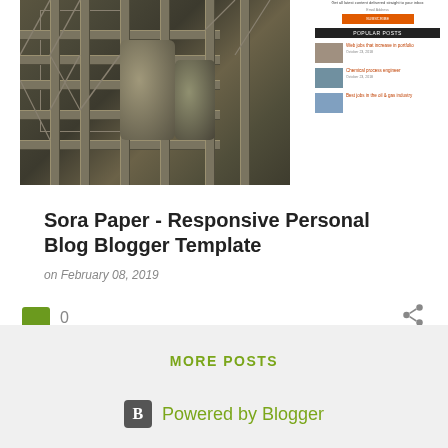[Figure (screenshot): Screenshot of a blog website showing an industrial image with pipes and scaffolding, and a sidebar with subscribe form and popular posts section]
Sora Paper - Responsive Personal Blog Blogger Template
on February 08, 2019
0
MORE POSTS
Powered by Blogger